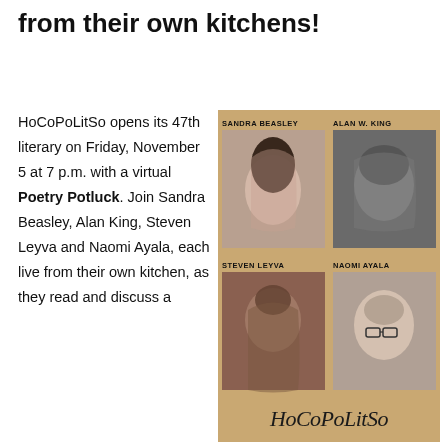from their own kitchens!
HoCoPoLitSo opens its 47th literary on Friday, November 5 at 7 p.m. with a virtual Poetry Potluck. Join Sandra Beasley, Alan King, Steven Leyva and Naomi Ayala, each live from their own kitchen, as they read and discuss a
[Figure (photo): Event poster for HoCoPoLitSo Poetry Potluck featuring four poets: Sandra Beasley (top left), Alan W. King (top right), Steven Leyva (bottom left), and Naomi Ayala (bottom right), with the HoCoPoLitSo logo at the bottom on a tan/gold background.]